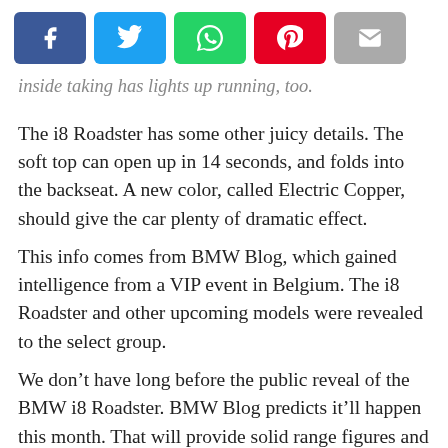[Figure (other): Social media share buttons: Facebook (blue), Twitter (light blue), WhatsApp (green), Pinterest (red), Email (grey)]
inside taking has lights up running, too.
The i8 Roadster has some other juicy details. The soft top can open up in 14 seconds, and folds into the backseat. A new color, called Electric Copper, should give the car plenty of dramatic effect.
This info comes from BMW Blog, which gained intelligence from a VIP event in Belgium. The i8 Roadster and other upcoming models were revealed to the select group.
We don't have long before the public reveal of the BMW i8 Roadster. BMW Blog predicts it'll happen this month. That will provide solid range figures and more, assigning numbers to just how serious BMW is about electrification.